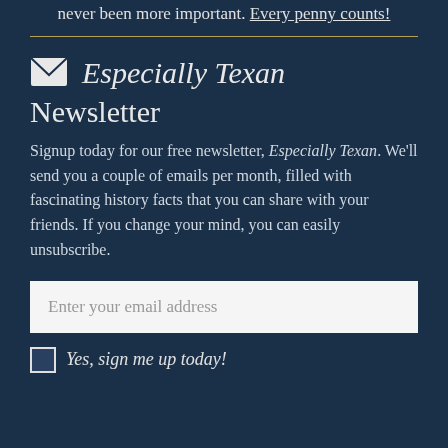never been more important. Every penny counts!
✉ Especially Texan Newsletter
Signup today for our free newsletter, Especially Texan. We'll send you a couple of emails per month, filled with fascinating history facts that you can share with your friends. If you change your mind, you can easily unsubscribe.
Enter your email address
Yes, sign me up today!